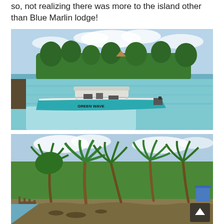so, not realizing there was more to the island other than Blue Marlin lodge!
[Figure (photo): A turquoise motorboat named 'Green Wave' moored in calm clear shallow water near a tropical island with palm trees and thatched structures in the background.]
[Figure (photo): A tropical island shoreline with tall palm trees and lush green vegetation, a wooden dock/pier visible on the left, and a small blue structure visible through the trees on the right.]